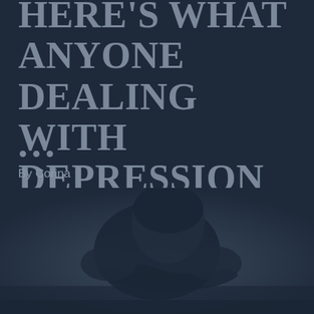HERE'S WHAT ANYONE DEALING WITH DEPRESSION SHOULD REMEMBER
...
By Corina
[Figure (photo): Dark moody photo of a person hunched over with head down, depicted in dark navy/blue tones, suggesting sadness or depression]